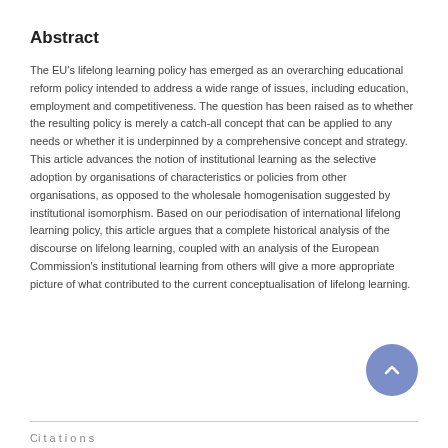Abstract
The EU's lifelong learning policy has emerged as an overarching educational reform policy intended to address a wide range of issues, including education, employment and competitiveness. The question has been raised as to whether the resulting policy is merely a catch-all concept that can be applied to any needs or whether it is underpinned by a comprehensive concept and strategy. This article advances the notion of institutional learning as the selective adoption by organisations of characteristics or policies from other organisations, as opposed to the wholesale homogenisation suggested by institutional isomorphism. Based on our periodisation of international lifelong learning policy, this article argues that a complete historical analysis of the discourse on lifelong learning, coupled with an analysis of the European Commission's institutional learning from others will give a more appropriate picture of what contributed to the current conceptualisation of lifelong learning.